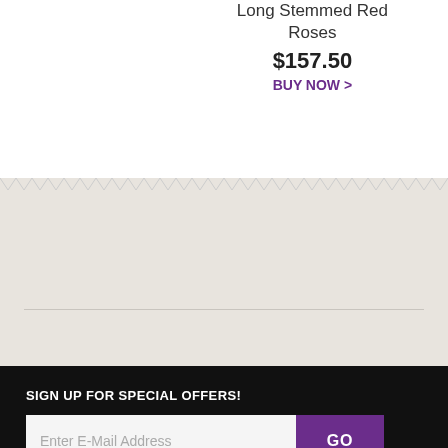Long Stemmed Red Roses
$157.50
BUY NOW >
SIGN UP FOR SPECIAL OFFERS!
Enter E-Mail Address
GO
FIORE FLORAL & GIFTS
18817 E Main St
Stockton, CA  95236
(209) 887-2019 (800) 847-8142